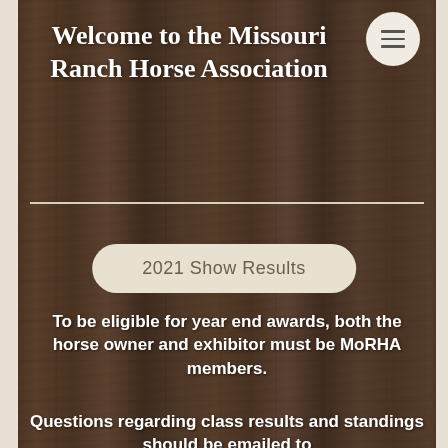Welcome to the Missouri Ranch Horse Association
[Figure (other): Hamburger menu icon button (three horizontal lines) inside a circular white background, positioned top-right]
2021 Show Results
To be eligible for year end awards, both the horse owner and exhibitor must be MoRHA members.
Questions regarding class results and standings should be emailed to board@moranchhorse.com